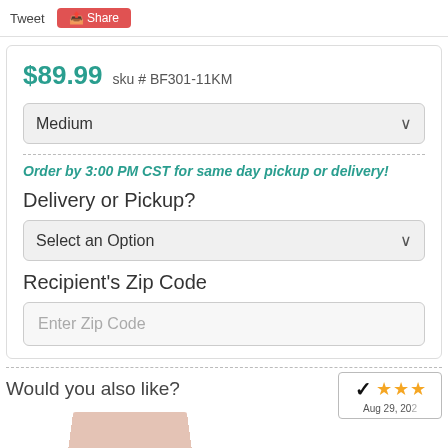Tweet   Share
$89.99  sku # BF301-11KM
Medium
Order by 3:00 PM CST for same day pickup or delivery!
Delivery or Pickup?
Select an Option
Recipient's Zip Code
Enter Zip Code
Would you also like?
[Figure (other): Rating badge showing 3 stars and date Aug 29, 20...]
[Figure (photo): Partial product image visible at bottom of page]